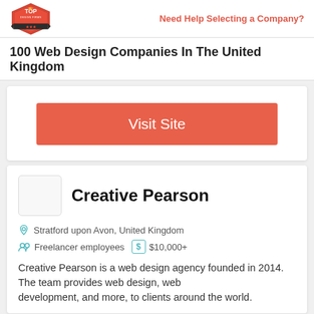Top Design Firms | Need Help Selecting a Company?
100 Web Design Companies In The United Kingdom
[Figure (other): Red 'Visit Site' button]
Creative Pearson
Stratford upon Avon, United Kingdom
Freelancer employees  $10,000+
Creative Pearson is a web design agency founded in 2014. The team provides web design, web development, and more, to clients around the world.